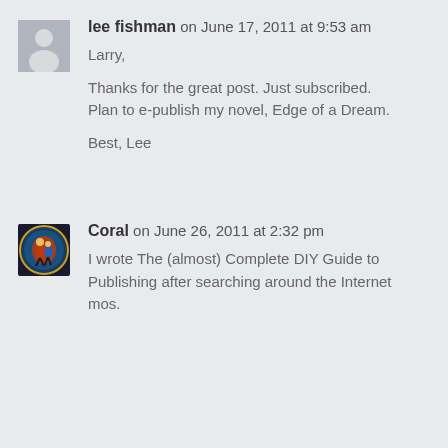[Figure (illustration): Gray placeholder avatar icon with white silhouette of a person]
lee fishman on June 17, 2011 at 9:53 am
Larry,

Thanks for the great post. Just subscribed. Plan to e-publish my novel, Edge of a Dream.

Best, Lee
[Figure (illustration): Small square avatar image with colorful tango dancers illustration on dark background]
Coral on June 26, 2011 at 2:32 pm
I wrote The (almost) Complete DIY Guide to Publishing after searching around the Internet for mos.